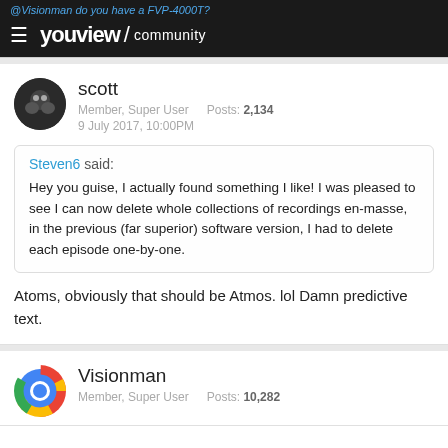@Visionman do you have a FVP-4000T?
[Figure (logo): YouView / community logo with hamburger menu on dark background]
scott
Member, Super User   Posts: 2,134
9 July 2017, 10:00PM
Steven6 said:
Hey you guise, I actually found something I like! I was pleased to see I can now delete whole collections of recordings en-masse, in the previous (far superior) software version, I had to delete each episode one-by-one.
Atoms, obviously that should be Atmos. lol Damn predictive text.
Visionman
Member, Super User   Posts: 10,282